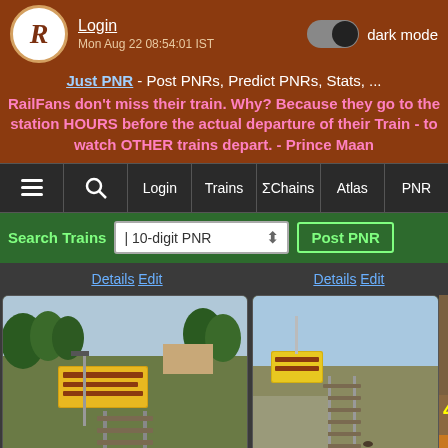Login  Mon Aug 22 08:54:01 IST  dark mode
Just PNR - Post PNRs, Predict PNRs, Stats, ...
RailFans don't miss their train. Why? Because they go to the station HOURS before the actual departure of their Train - to watch OTHER trains depart. - Prince Maan
≡  🔍  Login  Trains  ΣChains  Atlas  PNR
Search Trains  10-digit PNR  Post PNR
[Figure (screenshot): Railway station photo showing tracks and a signboard with Kannada/Telugu text, green trees in background]
[Figure (screenshot): Railway track photo with yellow signboard along a road, blue sky]
[Figure (screenshot): Partially visible photo with trees, overlaid text '4 more pic' in yellow and 'Scroll to' button]